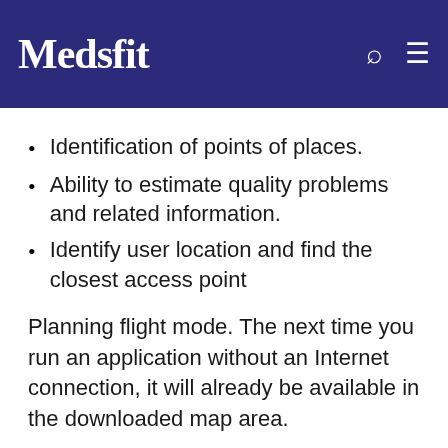Medsfit
Identification of points of places.
Ability to estimate quality problems and related information.
Identify user location and find the closest access point
Planning flight mode. The next time you run an application without an Internet connection, it will already be available in the downloaded map area.
The program WifesPC APK will not break the password to detect the network! All